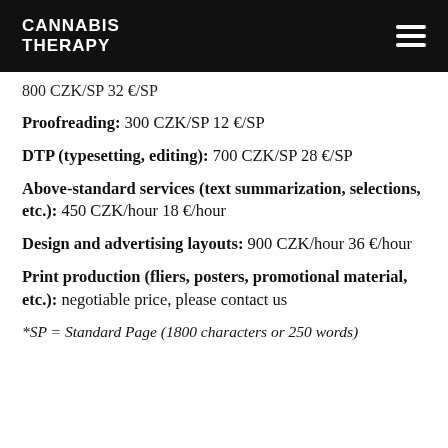CANNABIS THERAPY
800 CZK/SP 32 €/SP
Proofreading: 300 CZK/SP 12 €/SP
DTP (typesetting, editing): 700 CZK/SP 28 €/SP
Above-standard services (text summarization, selections, etc.): 450 CZK/hour 18 €/hour
Design and advertising layouts: 900 CZK/hour 36 €/hour
Print production (fliers, posters, promotional material, etc.): negotiable price, please contact us
*SP = Standard Page (1800 characters or 250 words)